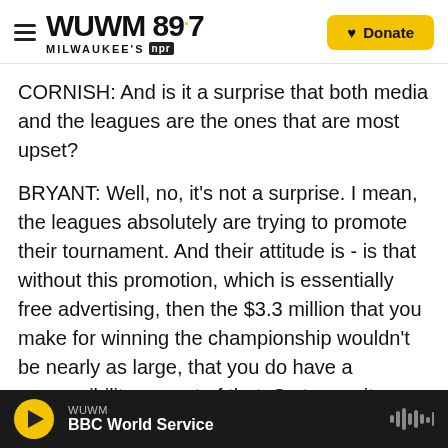WUWM 89.7 Milwaukee's NPR | Donate
CORNISH: And is it a surprise that both media and the leagues are the ones that are most upset?
BRYANT: Well, no, it's not a surprise. I mean, the leagues absolutely are trying to promote their tournament. And their attitude is - is that without this promotion, which is essentially free advertising, then the $3.3 million that you make for winning the championship wouldn't be nearly as large, that you do have a responsibility as part of that. So to me, it always comes back to labor. This is a labor issue. This is a workplace condition issue. And then when Osaka - when she withdrew, now they've sort of
WUWM | BBC World Service